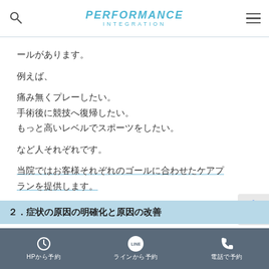PERFORMANCE INTEGRATION
ールがあります。
例えば、
痛み無くプレーしたい。
手術後に競技へ復帰したい。
もっと高いレベルでスポーツをしたい。
など人それぞれです。
当院ではお客様それぞれのゴールに合わせたケアプランを提供します。
２．症状の原因の明確化と原因の改善
HPから予約　ラインから予約　電話で予約